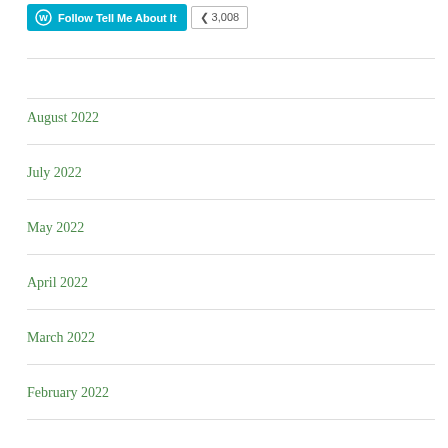[Figure (other): WordPress Follow button with follower count 3,008]
August 2022
July 2022
May 2022
April 2022
March 2022
February 2022
January 2022
December 2021
November 2021